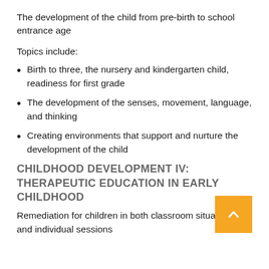The development of the child from pre-birth to school entrance age
Topics include:
Birth to three, the nursery and kindergarten child, readiness for first grade
The development of the senses, movement, language, and thinking
Creating environments that support and nurture the development of the child
CHILDHOOD DEVELOPMENT IV: THERAPEUTIC EDUCATION IN EARLY CHILDHOOD
Remediation for children in both classroom situations and individual sessions